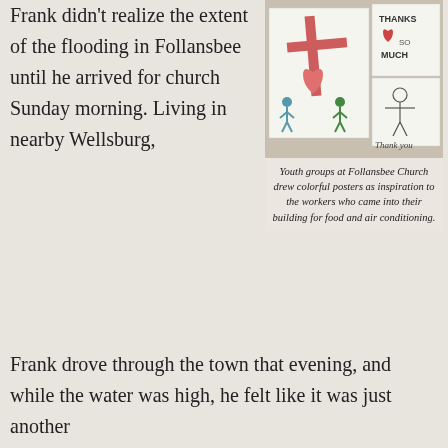Frank didn't realize the extent of the flooding in Follansbee until he arrived for church Sunday morning. Living in nearby Wellsburg,
[Figure (photo): Children's hand-drawn thank you posters pinned on a wall. One shows a cross with a heart in pink/red crayon and two small figures. Another shows 'THANKS SO MUCH' with a heart. A third shows a simple figure and 'Thank you' written in pencil.]
Youth groups at Follansbee Church drew colorful posters as inspiration to the workers who came into their building for food and air conditioning.
Frank drove through the town that evening, and while the water was high, he felt like it was just another